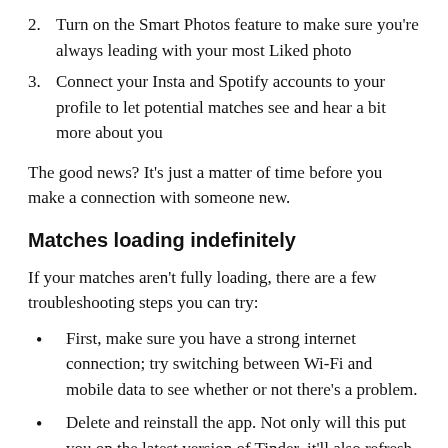2. Turn on the Smart Photos feature to make sure you're always leading with your most Liked photo
3. Connect your Insta and Spotify accounts to your profile to let potential matches see and hear a bit more about you
The good news? It's just a matter of time before you make a connection with someone new.
Matches loading indefinitely
If your matches aren't fully loading, there are a few troubleshooting steps you can try:
First, make sure you have a strong internet connection; try switching between Wi-Fi and mobile data to see whether or not there's a problem.
Delete and reinstall the app. Not only will this put you on the latest version of Tinder, it'll also refresh your app